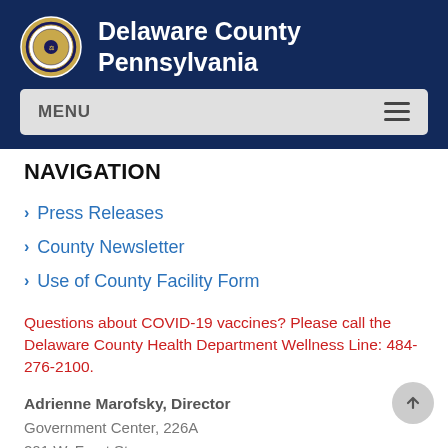Delaware County Pennsylvania
NAVIGATION
Press Releases
County Newsletter
Use of County Facility Form
Questions about COVID-19 vaccines? Please call the Delaware County Health Department Wellness Line: 484-276-2100.
Adrienne Marofsky, Director
Government Center, 226A
201 W. Front St.
Media, PA 19000